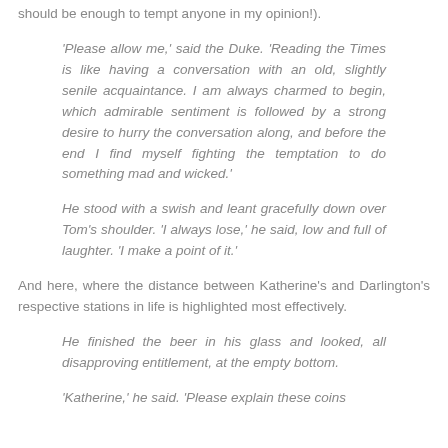should be enough to tempt anyone in my opinion!).
'Please allow me,' said the Duke. 'Reading the Times is like having a conversation with an old, slightly senile acquaintance. I am always charmed to begin, which admirable sentiment is followed by a strong desire to hurry the conversation along, and before the end I find myself fighting the temptation to do something mad and wicked.'
He stood with a swish and leant gracefully down over Tom’s shoulder. 'I always lose,' he said, low and full of laughter. 'I make a point of it.'
And here, where the distance between Katherine's and Darlington's respective stations in life is highlighted most effectively.
He finished the beer in his glass and looked, all disapproving entitlement, at the empty bottom.
‘Katherine,’ he said. ‘Please explain these coins